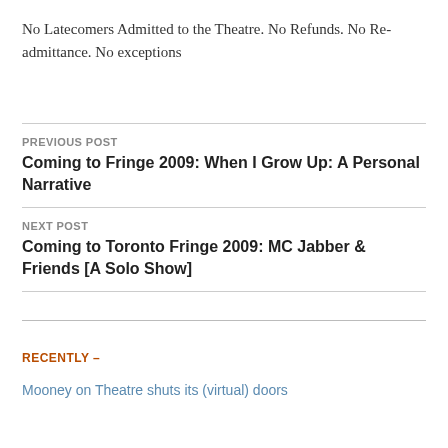No Latecomers Admitted to the Theatre. No Refunds. No Readmittance. No exceptions
PREVIOUS POST
Coming to Fringe 2009: When I Grow Up: A Personal Narrative
NEXT POST
Coming to Toronto Fringe 2009: MC Jabber & Friends [A Solo Show]
RECENTLY –
Mooney on Theatre shuts its (virtual) doors